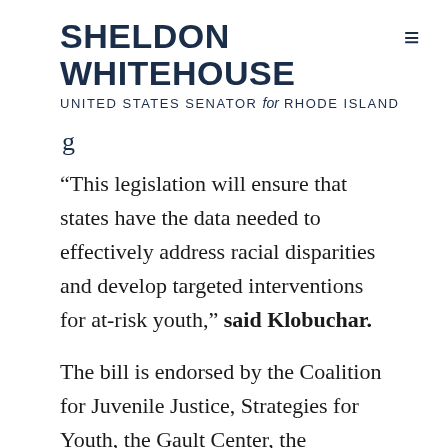SHELDON WHITEHOUSE UNITED STATES SENATOR for RHODE ISLAND
g
“This legislation will ensure that states have the data needed to effectively address racial disparities and develop targeted interventions for at-risk youth,” said Klobuchar.
The bill is endorsed by the Coalition for Juvenile Justice, Strategies for Youth, the Gault Center, the Sentencing Project, Youth Village, National Juvenile Justice Network, National Association of Counsel for Children, First Focus Campaign for